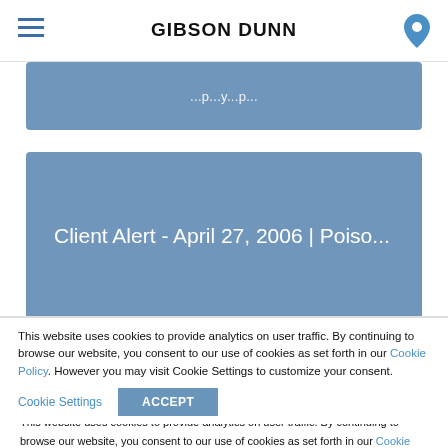GIBSON DUNN
[Figure (other): Partially visible blue card with truncated text at top of content area]
[Figure (other): Blue card with text: Client Alert - April 27, 2006 | Poiso...]
[Figure (other): Social media icons: Facebook, Twitter, LinkedIn, Instagram]
This website uses cookies to provide analytics on user traffic. By continuing to browse our website, you consent to our use of cookies as set forth in our Cookie Policy. However you may visit Cookie Settings to customize your consent.
Cookie Settings  ACCEPT